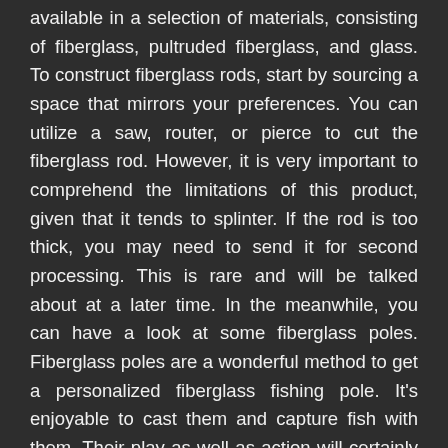available in a selection of materials, consisting of fiberglass, pultruded fiberglass, and glass. To construct fiberglass rods, start by sourcing a space that mirrors your preferences. You can utilize a saw, router, or pierce to cut the fiberglass rod. However, it is very important to comprehend the limitations of this product, given that it tends to splinter. If the rod is too thick, you may need to send it for second processing. This is rare and will be talked about at a later time. In the meanwhile, you can have a look at some fiberglass poles. Fiberglass poles are a wonderful method to get a personalized fiberglass fishing pole. It's enjoyable to cast them and capture fish with them. Their play as well as action will certainly make hooksets, fights, and attracting fish a delight. This rod will make your fishing journey a lot more delightful! You'll rejoice you made the effort to have it customized made! Just make certain to discover a rod supplier with the ideal fit and the ideal